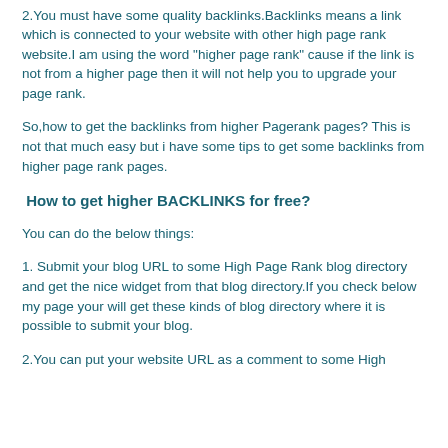tool.
2.You must have some quality backlinks.Backlinks means a link which is connected to your website with other high page rank website.I am using the word "higher page rank" cause if the link is not from a higher page then it will not help you to upgrade your page rank.
So,how to get the backlinks from higher Pagerank pages? This is not that much easy but i have some tips to get some backlinks from higher page rank pages.
How to get higher BACKLINKS for free?
You can do the below things:
1. Submit your blog URL to some High Page Rank blog directory and get the nice widget from that blog directory.If you check below my page your will get these kinds of blog directory where it is possible to submit your blog.
2.You can put your website URL as a comment to some High